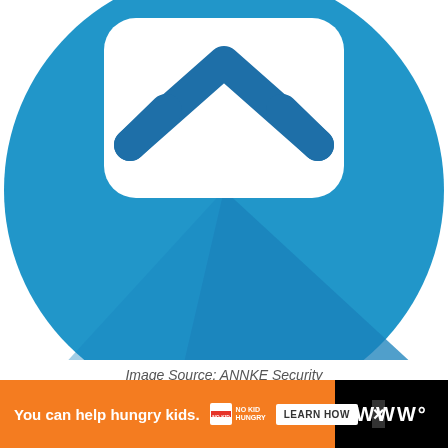[Figure (illustration): Blue circle with white rounded square containing a blue upward chevron/caret icon. The circle has a darker blue shadow/fold in the lower-right quadrant. The image appears to be a security or app icon from ANNKE Security.]
Image Source: ANNKE Security
[Figure (screenshot): Partial webpage screenshot showing a light gray content area with social media buttons (heart/favorite in teal and share in white), a teal sidebar element, a 'WHAT'S NEXT' panel with thumbnail and text 'Millions Could Be Crushed...', and an advertisement bar at the bottom reading 'You can help hungry kids.' with No Kid Hungry branding and a 'LEARN NOW' button.]